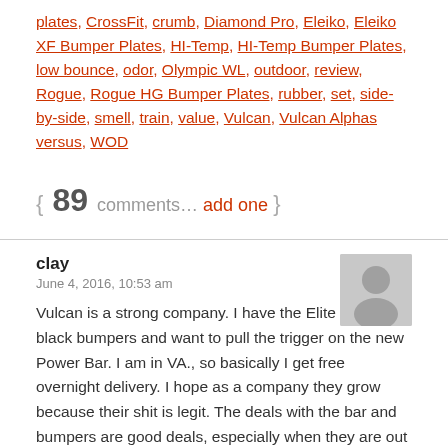plates, CrossFit, crumb, Diamond Pro, Eleiko, Eleiko XF Bumper Plates, HI-Temp, HI-Temp Bumper Plates, low bounce, odor, Olympic WL, outdoor, review, Rogue, Rogue HG Bumper Plates, rubber, set, side-by-side, smell, train, value, Vulcan, Vulcan Alphas versus, WOD
{ 89 comments… add one }
clay
June 4, 2016, 10:53 am
Vulcan is a strong company. I have the Elite and some black bumpers and want to pull the trigger on the new Power Bar. I am in VA., so basically I get free overnight delivery. I hope as a company they grow because their shit is legit. The deals with the bar and bumpers are good deals, especially when they are out of stock and they offer...